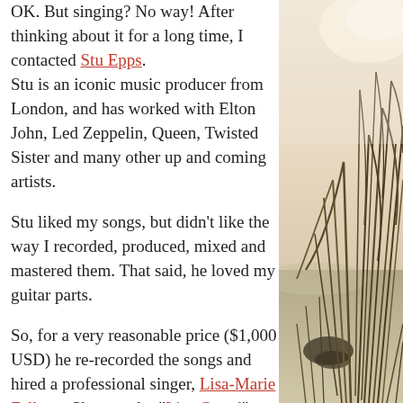OK. But singing? No way! After thinking about it for a long time, I contacted Stu Epps. Stu is an iconic music producer from London, and has worked with Elton John, Led Zeppelin, Queen, Twisted Sister and many other up and coming artists.

Stu liked my songs, but didn't like the way I recorded, produced, mixed and mastered them. That said, he loved my guitar parts.

So, for a very reasonable price ($1,000 USD) he re-recorded the songs and hired a professional singer, Lisa-Marie Falloon. She goes by "Lisa Grand", now. Stu re-mixed and re-
[Figure (photo): A nature photo showing tall grasses or reeds on a sandy/rocky beach or shoreline, with a bright hazy background suggesting sunlight or sky.]